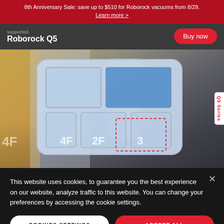8th Anniversary Sale: save up to $510 for Roborock vacuums from 8/29. Learn more >
Roborock Q5
supported.
[Figure (screenshot): Roborock app floor plan mapping interface showing multi-floor house map with rooms labeled 2F, 3, 4F in a rounded-rectangle card UI with blue room colors and red dashed selection area. Background is blurred home environment.]
Q5 Series
This website uses cookies, to guarantee you the best experience on our website, analyze traffic to this website. You can change your preferences by accessing the cookie settings.
COOKIES SETTINGS
ACCEPT ALL